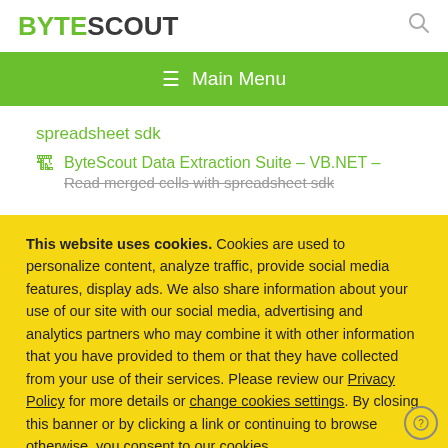BYTESCOUT
≡  Main Menu
spreadsheet sdk
ByteScout Data Extraction Suite – VB.NET – Read merged cells with spreadsheet sdk
This website uses cookies. Cookies are used to personalize content, analyze traffic, provide social media features, display ads. We also share information about your use of our site with our social media, advertising and analytics partners who may combine it with other information that you have provided to them or that they have collected from your use of their services. Please review our Privacy Policy for more details or change cookies settings. By closing this banner or by clicking a link or continuing to browse otherwise, you consent to our cookies.
OK